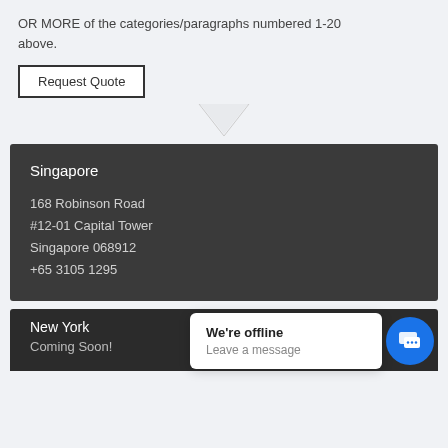OR MORE of the categories/paragraphs numbered 1-20 above.
Request Quote
Singapore
168 Robinson Road
#12-01 Capital Tower
Singapore 068912
+65 3105 1295
New York
Coming Soon!
We're offline
Leave a message